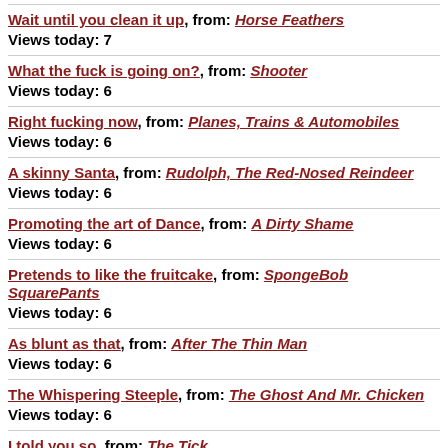Wait until you clean it up, from: Horse Feathers
Views today: 7
What the fuck is going on?, from: Shooter
Views today: 6
Right fucking now, from: Planes, Trains & Automobiles
Views today: 6
A skinny Santa, from: Rudolph, The Red-Nosed Reindeer
Views today: 6
Promoting the art of Dance, from: A Dirty Shame
Views today: 6
Pretends to like the fruitcake, from: SpongeBob SquarePants
Views today: 6
As blunt as that, from: After The Thin Man
Views today: 6
The Whispering Steeple, from: The Ghost And Mr. Chicken
Views today: 6
I told you so, from: The Tick
Views today: 6